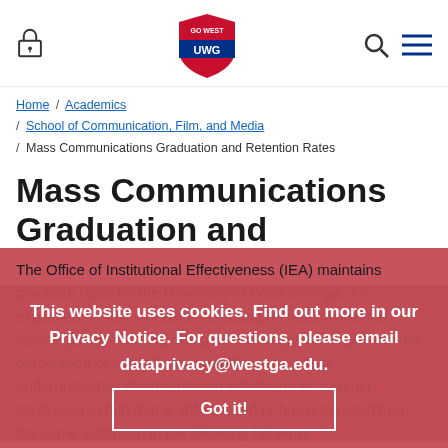GO WEST UWG logo, lock icon, search icon, menu icon
Home / Academics / School of Communication, Film, and Media / Mass Communications Graduation and Retention Rates
Mass Communications Graduation and Retention Rates
This website uses cookies. Find out more in our Privacy Notice. For questions, please email dataprivacy@westga.edu. Got it!
The Office of Institutional Effectiveness (IEA) maintains graduate rates for the University of West Georgia. As explained on IEA's website, "Graduation rates follow the federal government reporting methodology and represent the percentage of a Full-Time, First-Time-in-College undergraduate cohort (entering in fall term or summer continuing to fall) that is still enrolled or has graduated from the same institution in the following fall term.